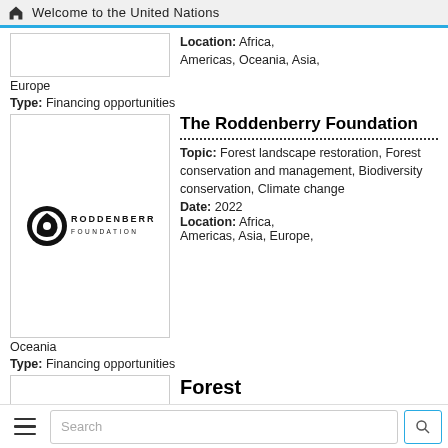Welcome to the United Nations
Location: Africa, Americas, Oceania, Asia, Europe
Type: Financing opportunities
The Roddenberry Foundation
Topic: Forest landscape restoration, Forest conservation and management, Biodiversity conservation, Climate change
Date: 2022
Location: Africa, Americas, Asia, Europe, Oceania
Type: Financing opportunities
[Figure (logo): Roddenberry Foundation logo — circular emblem with stylized figure and text RODDENBERRY FOUNDATION]
Forest